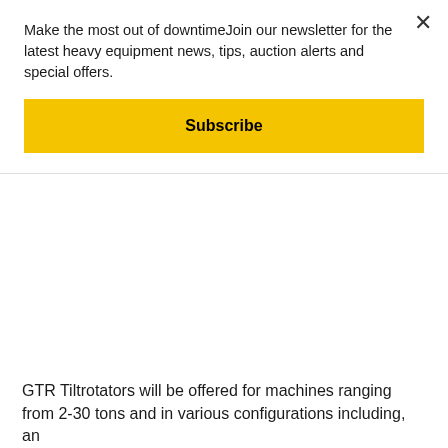Make the most out of downtimeJoin our newsletter for the latest heavy equipment news, tips, auction alerts and special offers.
Subscribe
GTR Tiltrotators will be offered for machines ranging from 2-30 tons and in various configurations including, an